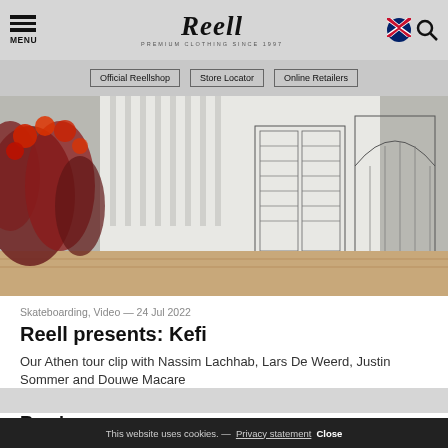MENU | Reell PREMIUM CLOTHING SINCE 1997
Official Reellshop
Store Locator
Online Retailers
[Figure (photo): Outdoor photo showing red flowers/plants in front of white building with ornate iron gates and archways]
Skateboarding, Video — 24 Jul 2022
Reell presents: Kefi
Our Athen tour clip with Nassim Lachhab, Lars De Weerd, Justin Sommer and Douwe Macare
Read
This website uses cookies. — Privacy statement Close